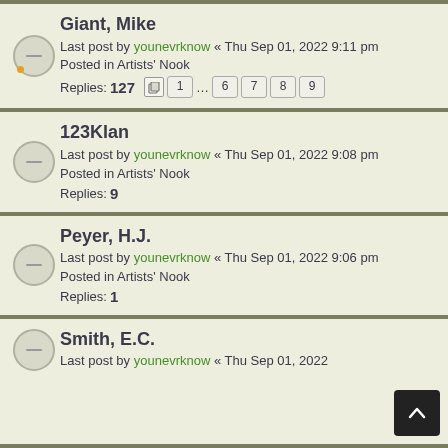Giant, Mike — Last post by younevrknow « Thu Sep 01, 2022 9:11 pm — Posted in Artists' Nook — Replies: 127 — Pages: 1 ... 6 7 8 9
123Klan — Last post by younevrknow « Thu Sep 01, 2022 9:08 pm — Posted in Artists' Nook — Replies: 9
Peyer, H.J. — Last post by younevrknow « Thu Sep 01, 2022 9:06 pm — Posted in Artists' Nook — Replies: 1
Smith, E.C. — Last post by younevrknow « Thu Sep 01, 2022